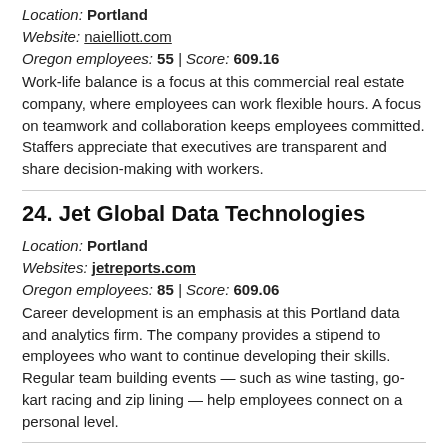Location: Portland
Website: naielliott.com
Oregon employees: 55 | Score: 609.16
Work-life balance is a focus at this commercial real estate company, where employees can work flexible hours. A focus on teamwork and collaboration keeps employees committed. Staffers appreciate that executives are transparent and share decision-making with workers.
24. Jet Global Data Technologies
Location: Portland
Websites: jetreports.com
Oregon employees: 85 | Score: 609.06
Career development is an emphasis at this Portland data and analytics firm. The company provides a stipend to employees who want to continue developing their skills.  Regular team building events — such as wine tasting, go-kart racing and zip lining — help employees connect on a personal level.
25. Avista Utilities
Location: Medford
Website: myavista.com